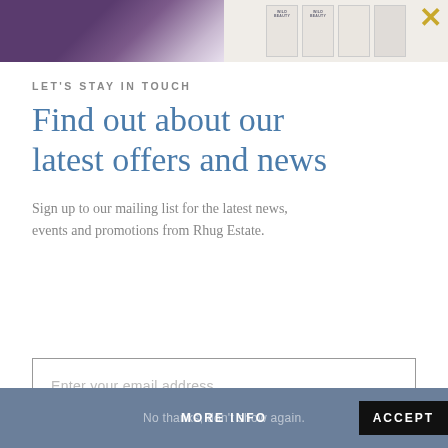[Figure (photo): Top strip showing two images: left side is a purple/dark yoga mat or fabric texture, right side shows beauty/skincare product packaging in beige tones with a yellow X close button]
LET'S STAY IN TOUCH
Find out about our latest offers and news
Sign up to our mailing list for the latest news, events and promotions from Rhug Estate.
Enter your email address
JOIN
No thanks, don't show again.
MORE INFO
ACCEPT